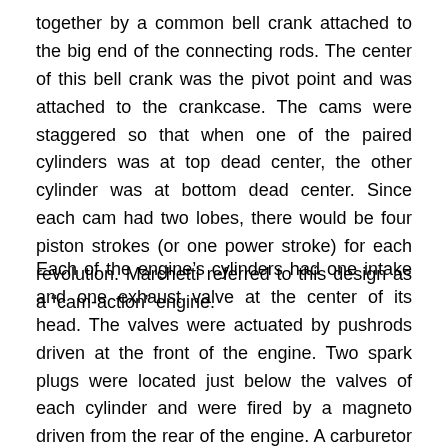together by a common bell crank attached to the big end of the connecting rods. The center of this bell crank was the pivot point and was attached to the crankcase. The cams were staggered so that when one of the paired cylinders was at top dead center, the other cylinder was at bottom dead center. Since each cam had two lobes, there would be four piston strokes (or one power stroke) for each revolution. Marchetti referred to this design as a “cam-action” engine.
Each of the engine’s cylinders had one intake and one exhaust valve at the center of its head. The valves were actuated by pushrods driven at the front of the engine. Two spark plugs were located just below the valves of each cylinder and were fired by a magneto driven from the rear of the engine. A carburetor attached to the lower rear of the engine fed the air/fuel charge into a blower from